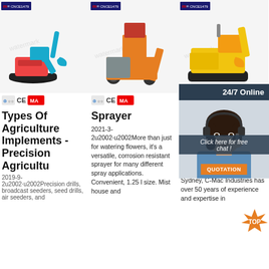[Figure (photo): Blue mini excavator on white background with brand logo top-left and certification badges below]
[Figure (photo): Orange construction/brick-making machine on white background with brand logo top-left and certification badges below]
[Figure (photo): Yellow heavy machinery (bulldozer/compactor) on white background with brand logo top-left and certification badges below, partially covered by chat widget]
Types Of Agriculture Implements - Precision Agricultu
2019-9-2u2002·u2002Precision drills, broadcast seeders, seed drills, air seeders, and
Sprayer
2021-3-2u2002·u2002More than just for watering flowers, it's a versatile, corrosion resistant sprayer for many different spray applications. Convenient, 1.25 l size. Mist house and
Ho & Eq
Hort Equ market leader based in Sydney, C-Mac Industries has over 50 years of experience and expertise in
[Figure (screenshot): 24/7 online chat widget with female customer service agent wearing headset, 'Click here for free chat!' text, and QUOTATION button in orange]
[Figure (logo): TOP badge/watermark in orange at bottom right of page]